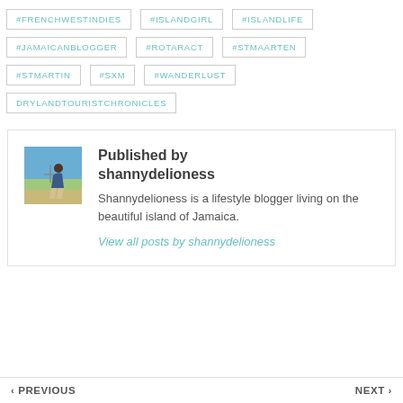#FRENCHWESTINDIES
#ISLANDGIRL
#ISLANDLIFE
#JAMAICANBLOGGER
#ROTARACT
#STMAARTEN
#STMARTIN
#SXM
#WANDERLUST
DRYLANDTOURISTCHRONICLES
Published by shannydelioness
Shannydelioness is a lifestyle blogger living on the beautiful island of Jamaica.
View all posts by shannydelioness
‹ PREVIOUS    NEXT ›